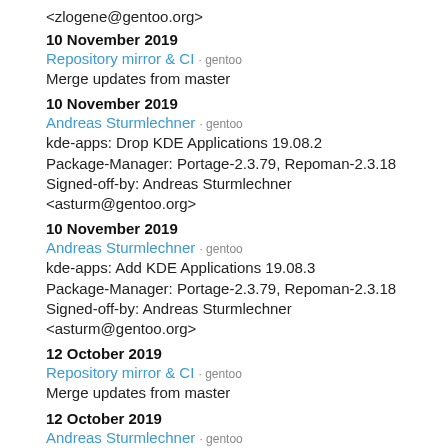<zlogene@gentoo.org>
10 November 2019
Repository mirror & CI · gentoo
Merge updates from master
10 November 2019
Andreas Sturmlechner · gentoo
kde-apps: Drop KDE Applications 19.08.2
Package-Manager: Portage-2.3.79, Repoman-2.3.18 Signed-off-by: Andreas Sturmlechner <asturm@gentoo.org>
10 November 2019
Andreas Sturmlechner · gentoo
kde-apps: Add KDE Applications 19.08.3
Package-Manager: Portage-2.3.79, Repoman-2.3.18 Signed-off-by: Andreas Sturmlechner <asturm@gentoo.org>
12 October 2019
Repository mirror & CI · gentoo
Merge updates from master
12 October 2019
Andreas Sturmlechner · gentoo
kde-apps: Drop KDE Applications 19.08.1
Package-Manager: Portage-2.3.76, Repoman-2.3.17 Signed-off-by: Andreas Sturmlechner <asturm@gentoo.org>